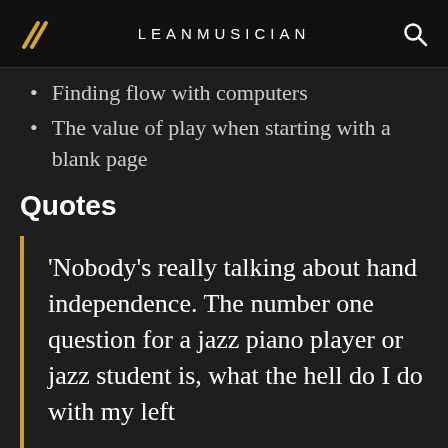LEANMUSICIAN
Finding flow with computers
The value of play when starting with a blank page
Quotes
'Nobody's really talking about hand independence. The number one question for a jazz piano player or jazz student is, what the hell do I do with my left